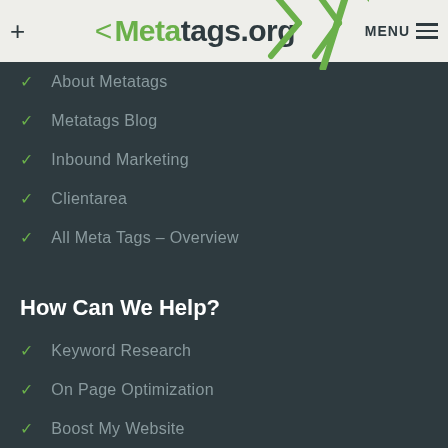+ <Meta tags.org /> MENU ≡
About Metatags
Metatags Blog
Inbound Marketing
Clientarea
All Meta Tags – Overview
How Can We Help?
Keyword Research
On Page Optimization
Boost My Website
Link Building